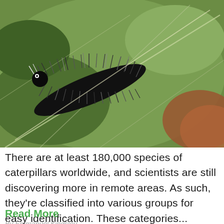[Figure (photo): Close-up photo of a black fuzzy/hairy caterpillar resting on a green leaf with visible leaf veins and a brownish-red fallen leaf in the background.]
There are at least 180,000 species of caterpillars worldwide, and scientists are still discovering more in remote areas. As such, they're classified into various groups for easy identification. These categories...
Read More
By Emmanuel Kingsley